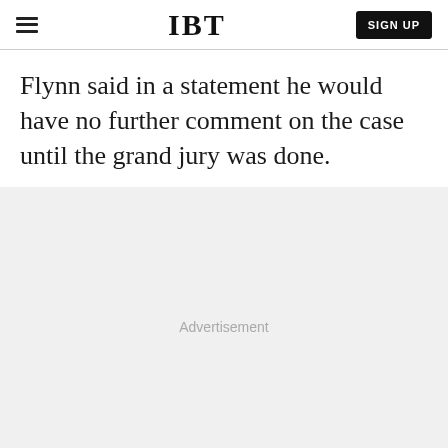IBT
Flynn said in a statement he would have no further comment on the case until the grand jury was done.
Advertisement